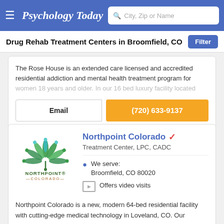Psychology Today — City, Zip or Name search
Drug Rehab Treatment Centers in Broomfield, CO
The Rose House is an extended care licensed and accredited residential addiction and mental health treatment program for women 18 years and older. In our 16 bed luxury facility located
Email | (720) 633-9137
Northpoint Colorado ✔ Treatment Center, LPC, CADC
We serve: Broomfield, CO 80020
Offers video visits
Northpoint Colorado is a new, modern 64-bed residential facility with cutting-edge medical technology in Loveland, CO. Our